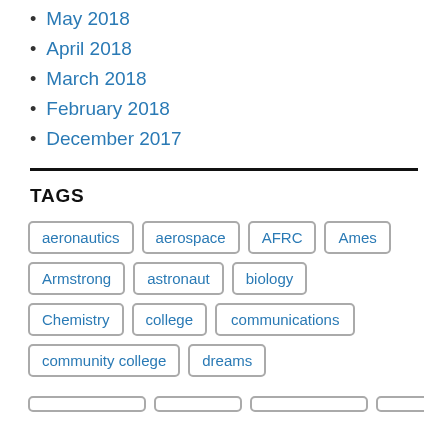May 2018
April 2018
March 2018
February 2018
December 2017
TAGS
aeronautics aerospace AFRC Ames Armstrong astronaut biology Chemistry college communications community college dreams